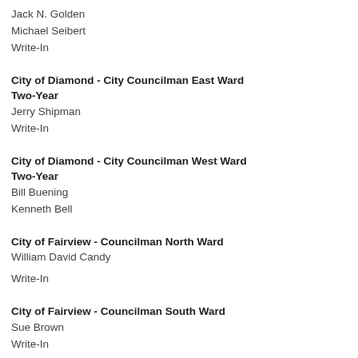Jack N. Golden
Michael Seibert
Write-In
City of Diamond - City Councilman East Ward Two-Year
Jerry Shipman
Write-In
City of Diamond - City Councilman West Ward Two-Year
Bill Buening
Kenneth Bell
City of Fairview - Councilman North Ward
William David Candy
Write-In
City of Fairview - Councilman South Ward
Sue Brown
Write-In